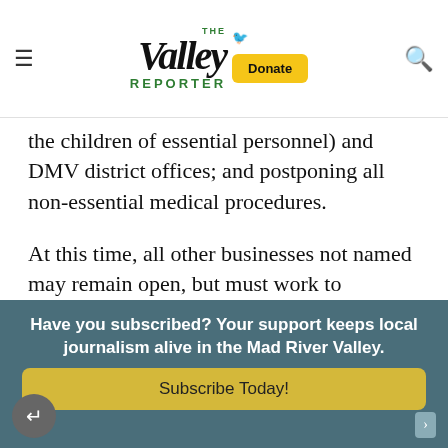The Valley Reporter
the children of essential personnel) and DMV district offices; and postponing all non-essential medical procedures.
At this time, all other businesses not named may remain open, but must work to implement CDC and the Vermont Department of Health guidance related to COVID-19, including:
Have you subscribed? Your support keeps local journalism alive in the Mad River Valley.
Subscribe Today!